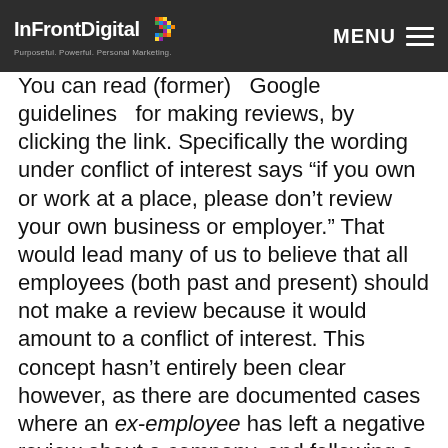enough or very tall. Below may be an example of why.
InFrontDigital | Purposeful. Powerful. Personal Marketing. | MENU
You can read (former) Google guidelines for making reviews, by clicking the link. Specifically the wording under conflict of interest says “if you own or work at a place, please don’t review your own business or employer.” That would lead many of us to believe that all employees (both past and present) should not make a review because it would amount to a conflict of interest. This concept hasn’t entirely been clear however, as there are documented cases where an ex-employee has left a negative review about a company, and following a complaint Google has upheld the decision to keep the negative review, essentially stating that these reviews were giving a reflection of the customer experience of the organisation and thus are a